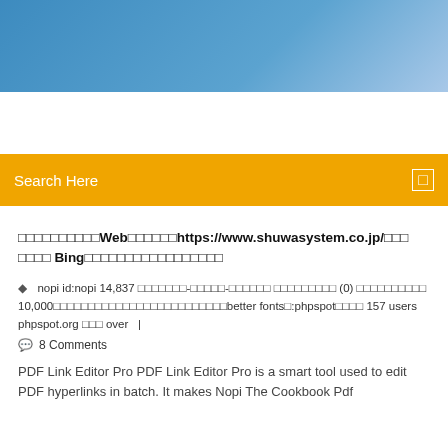[Figure (photo): Blue sky gradient header banner]
Search Here
□□□□□□□□□□WebURL□□https://www.shuwasystem.co.jp/□□□□□□ Bing□□□□□□□□□□□□□□□□□
nopi id:nopi 14,837 □□□□□□□-□□□□□-□□□□□□ □□□□□□□□□ (0) □□□□□□□□□□ 10,000□□□□□□□□□□□□□□□□□□□□□□□□□better fonts□:phpspot□□□□ 157 users phpspot.org □□□ over | 8 Comments
PDF Link Editor Pro PDF Link Editor Pro is a smart tool used to edit PDF hyperlinks in batch. It makes Nopi The Cookbook Pdf